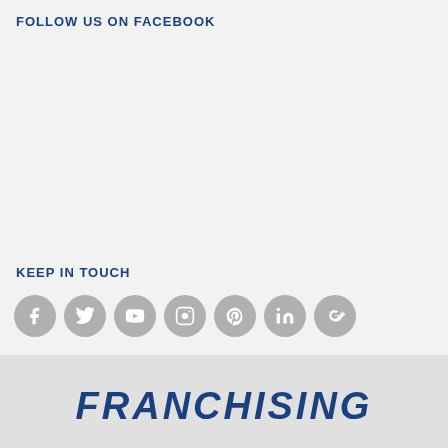FOLLOW US ON FACEBOOK
KEEP IN TOUCH
[Figure (infographic): Social media icons row: Facebook, Twitter, YouTube, Instagram, Pinterest, LinkedIn, Google+]
FRANCHISING